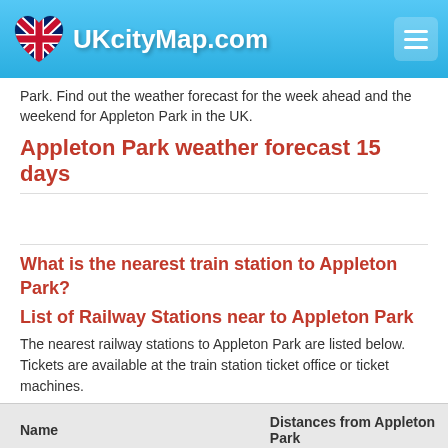UKcityMap.com
Park. Find out the weather forecast for the week ahead and the weekend for Appleton Park in the UK.
Appleton Park weather forecast 15 days
What is the nearest train station to Appleton Park?
List of Railway Stations near to Appleton Park
The nearest railway stations to Appleton Park are listed below. Tickets are available at the train station ticket office or ticket machines.
| Name | Distances from Appleton Park |
| --- | --- |
| Warrington Bank Quay Station | 4.46 Km |
| Warrington Central | 4.87 Km |